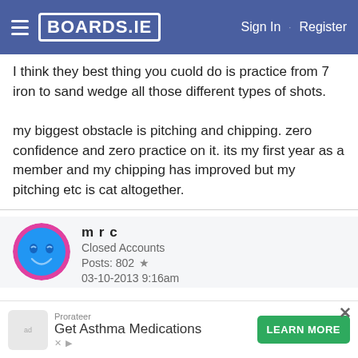BOARDS.IE  Sign In · Register
I think they best thing you cuold do is practice from 7 iron to sand wedge all those different types of shots.

my biggest obstacle is pitching and chipping. zero confidence and zero practice on it. its my first year as a member and my chipping has improved but my pitching etc is cat altogether.
m r c
Closed Accounts
Posts: 802 ★
03-10-2013 9:16am
How I'm feeling about getting lower at the minute.
[Figure (screenshot): Advertisement banner: Prorateer - Get Asthma Medications with LEARN MORE green button]